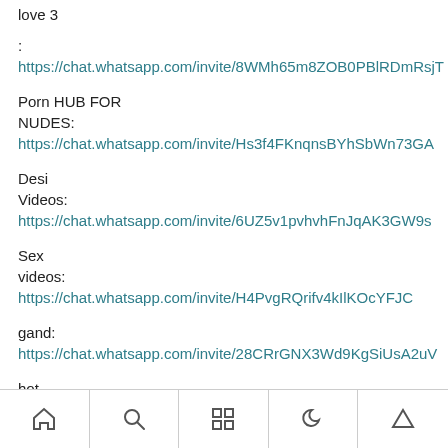love 3
: https://chat.whatsapp.com/invite/8WMh65m8ZOB0PBlRDmRsjT
Porn HUB FOR
NUDES: https://chat.whatsapp.com/invite/Hs3f4FKnqnsBYhSbWn73GA
Desi
Videos: https://chat.whatsapp.com/invite/6UZ5v1pvhvhFnJqAK3GW9s
Sex
videos: https://chat.whatsapp.com/invite/H4PvgRQrifv4kIlKOcYFJC
gand: https://chat.whatsapp.com/invite/28CRrGNX3Wd9KgSiUsA2uV
hot